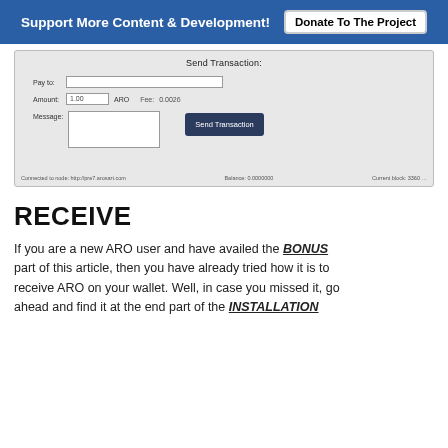Support More Content & Development!  Donate To The Project
[Figure (screenshot): Send Transaction dialog screenshot showing fields: Pay to (text input), Amount (1.00), ARO, Fee (0.0026), Message (textarea), and a Send Transaction button. Status bar shows: Connected to node: http://pre7.arosart.com, Balance: 0.0000000, Current block: 3360...]
RECEIVE
If you are a new ARO user and have availed the BONUS part of this article, then you have already tried how it is to receive ARO on your wallet. Well, in case you missed it, go ahead and find it at the end part of the INSTALLATION